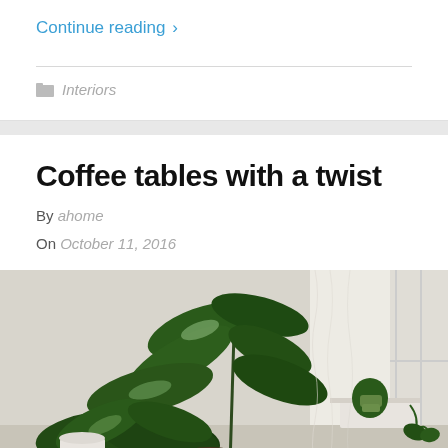Continue reading ›
Interiors
Coffee tables with a twist
By ahome
On October 11, 2016
[Figure (photo): Photo of indoor plants including large tropical leafy plants and a smaller potted plant on a white surface near a window with sheer curtains]